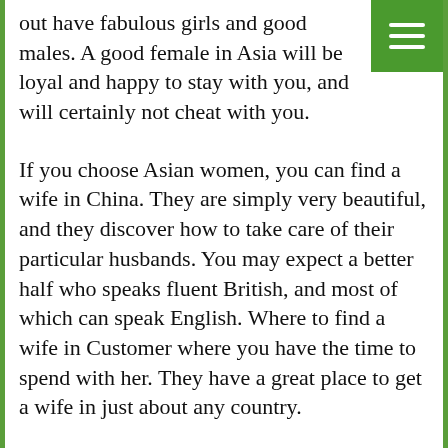out have fabulous girls and good males. A good female in Asia will be loyal and happy to stay with you, and will certainly not cheat with you.
If you choose Asian women, you can find a wife in China. They are simply very beautiful, and they discover how to take care of their particular husbands. You may expect a better half who speaks fluent British, and most of which can speak English. Where to find a wife in Customer where you have the time to spend with her. They have a great place to get a wife in just about any country.
Some of the best places to identify a wife incorporate China. There are numerous beautiful women in China, and you could be